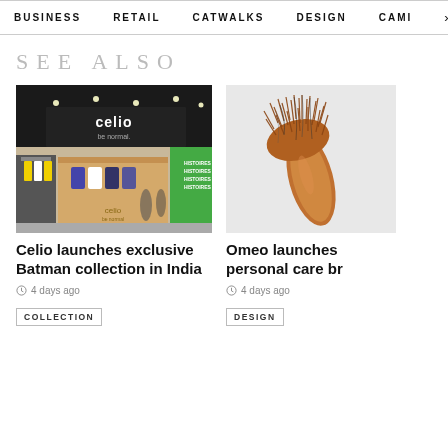BUSINESS   RETAIL   CATWALKS   DESIGN   CAMI  >
SEE ALSO
[Figure (photo): Photo of a Celio retail store booth at a trade fair, with Celio branding and clothing displays]
Celio launches exclusive Batman collection in India
4 days ago
COLLECTION
[Figure (photo): Photo of a hairbrush with hair bristles against a light background]
Omeo launches personal care br
4 days ago
DESIGN